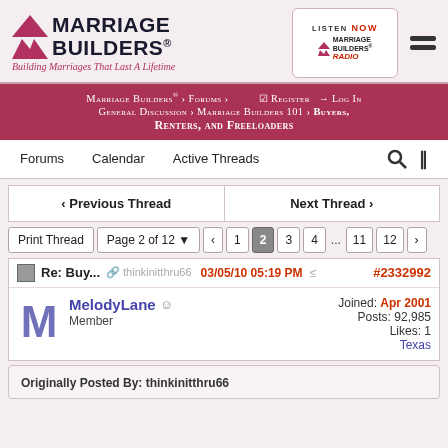[Figure (logo): Marriage Builders logo with triangle arrows and tagline 'Building Marriages That Last A Lifetime']
[Figure (logo): Marriage Builders Radio - Listen Now logo in white box]
Marriage Builders® > Forums > Register Log In General Discussion > Marriage Builders 101 > Buyers, Renters, and Freeloaders
Forums   Calendar   Active Threads
< Previous Thread    Next Thread >
Print Thread   Page 2 of 12 ▼   < 1  2  3  4  ...  11  12  >
Re: Buy...  thinkinitthru66  03/05/10 05:19 PM  #2332992
MelodyLane  Member  Joined: Apr 2001  Posts: 92,985  Likes: 1  Texas
Originally Posted By: thinkinitthru66